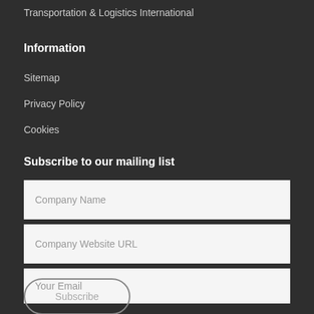Transportation & Logistics International
Information
Sitemap
Privacy Policy
Cookies
Subscribe to our mailing list
Company Name
Company Website URL
Your Email
Subscribe